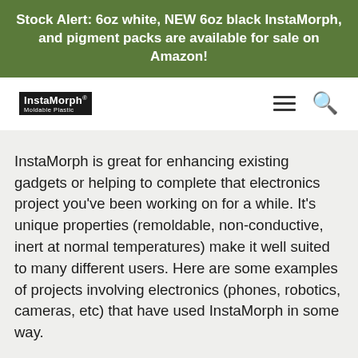Stock Alert: 6oz white, NEW 6oz black InstaMorph, and pigment packs are available for sale on Amazon!
[Figure (logo): InstaMorph Moldable Plastic logo in a black box with registration mark]
InstaMorph is great for enhancing existing gadgets or helping to complete that electronics project you've been working on for a while. It's unique properties (remoldable, non-conductive, inert at normal temperatures) make it well suited to many different users. Here are some examples of projects involving electronics (phones, robotics, cameras, etc) that have used InstaMorph in some way.